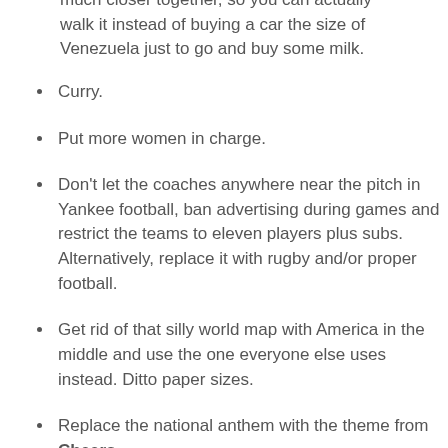much closer together, so you can actually walk it instead of buying a car the size of Venezuela just to go and buy some milk.
Curry.
Put more women in charge.
Don't let the coaches anywhere near the pitch in Yankee football, ban advertising during games and restrict the teams to eleven players plus subs. Alternatively, replace it with rugby and/or proper football.
Get rid of that silly world map with America in the middle and use the one everyone else uses instead. Ditto paper sizes.
Replace the national anthem with the theme from Cheers.